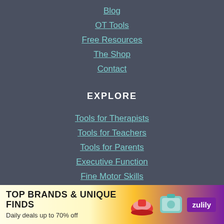Blog
OT Tools
Free Resources
The Shop
Contact
EXPLORE
Tools for Therapists
Tools for Teachers
Tools for Parents
Executive Function
Fine Motor Skills
Functioning Skills
Handwriting
Sensory
Vision
[Figure (infographic): Advertisement banner: TOP BRANDS & UNIQUE FINDS - Daily deals up to 70% off - Zulily brand ad with shoe and bag images]